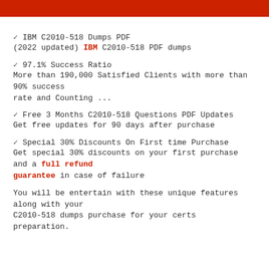[Figure (other): Red banner bar at top of page]
✓ IBM C2010-518 Dumps PDF
(2022 updated) IBM C2010-518 PDF dumps
✓ 97.1% Success Ratio
More than 190,000 Satisfied Clients with more than 90% success rate and Counting ...
✓ Free 3 Months C2010-518 Questions PDF Updates
Get free updates for 90 days after purchase
✓ Special 30% Discounts On First time Purchase
Get special 30% discounts on your first purchase and a full refund guarantee in case of failure
You will be entertain with these unique features along with your C2010-518 dumps purchase for your certs preparation.